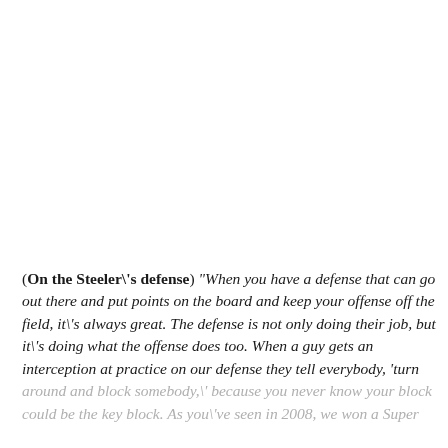(On the Steeler\'s defense) "When you have a defense that can go out there and put points on the board and keep your offense off the field, it\'s always great. The defense is not only doing their job, but it\'s doing what the offense does too. When a guy gets an interception at practice on our defense they tell everybody, ‘turn around and block somebody,\' because you never know your block could be the key block. As you\'ve seen in 2008, we won a Super